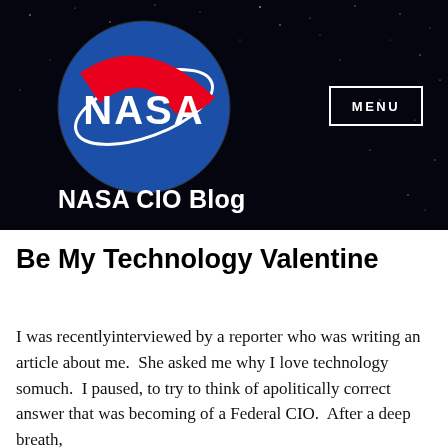[Figure (logo): NASA meatball logo — blue circle with white NASA text, white orbital ring, and red swoosh]
NASA CIO Blog
Be My Technology Valentine
I was recentlyinterviewed by a reporter who was writing an article about me.  She asked me why I love technology somuch.  I paused, to try to think of apolitically correct answer that was becoming of a Federal CIO.  After a deep breath,